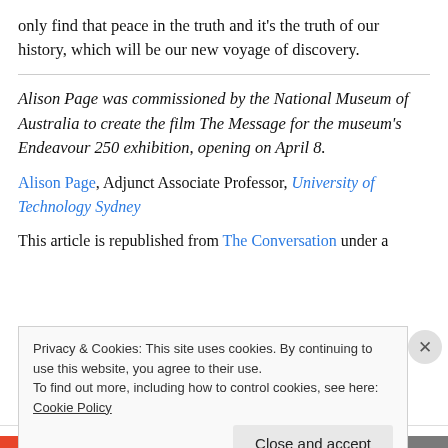only find that peace in the truth and it's the truth of our history, which will be our new voyage of discovery.
Alison Page was commissioned by the National Museum of Australia to create the film The Message for the museum's Endeavour 250 exhibition, opening on April 8.
Alison Page, Adjunct Associate Professor, University of Technology Sydney
This article is republished from The Conversation under a
Privacy & Cookies: This site uses cookies. By continuing to use this website, you agree to their use. To find out more, including how to control cookies, see here: Cookie Policy